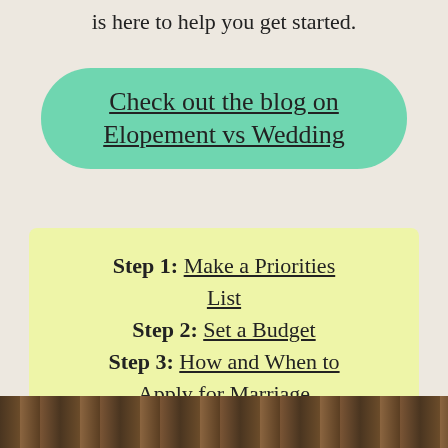is here to help you get started.
Check out the blog on Elopement vs Wedding
Step 1: Make a Priorities List
Step 2: Set a Budget
Step 3: How and When to Apply for Marriage License
Step 4: Find Support
[Figure (photo): Bottom strip showing tree bark or wood texture in brown tones]